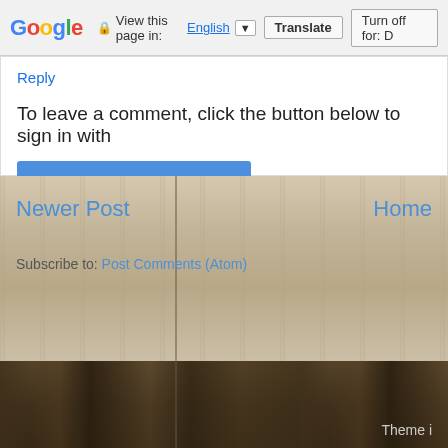Google — View this page in: English [▼] Translate | Turn off for: D
Reply
To leave a comment, click the button below to sign in with
SIGN IN WITH GOOGLE
Thanks for visiting! I really appreciate and enjoy reading all your comm… email me.
Newer Post
Home
Subscribe to: Post Comments (Atom)
Theme i